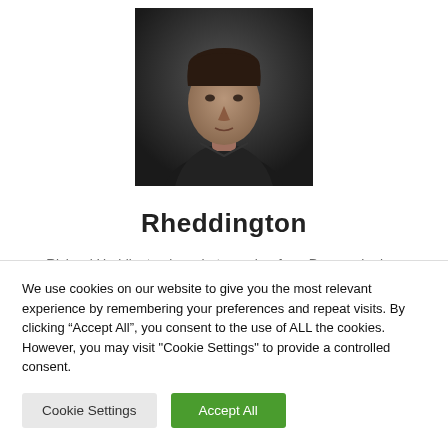[Figure (photo): Headshot portrait of Richard Heddington, a photographer, against a dark background. Man with short dark hair, neutral expression, dark jacket.]
Rheddington
Richard Heddington is a photographer from Devon who has swum with sharks, great whales and friendly dolphins. Admittedly, they weren't very close, but he was in the sea, so they were there somewhere. With two middle names, a distinctive style and several UK
We use cookies on our website to give you the most relevant experience by remembering your preferences and repeat visits. By clicking “Accept All”, you consent to the use of ALL the cookies. However, you may visit "Cookie Settings" to provide a controlled consent.